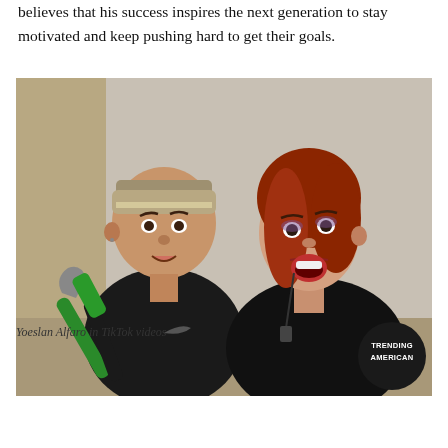believes that his success inspires the next generation to stay motivated and keep pushing hard to get their goals.
[Figure (photo): Two people in a room — a man wearing a backwards baseball cap and black Nike hoodie holding a green-handled tool (hammer/bolt cutter), and a red-haired woman in black looking at him with an open mouth expression. A 'TRENDING AMERICAN' watermark badge appears in the lower right corner.]
Yoeslan Alfaro in TikTok videos